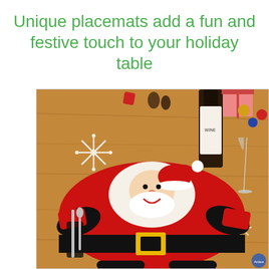Unique placemats add a fun and festive touch to your holiday table
[Figure (photo): A Santa Claus-shaped Christmas placemat in red felt with black belt, white beard and hat trim, holding silverware (knife and spoon) in pockets on either side. Set on a wooden table with Christmas decorations including pine cones, Christmas ornaments, a wine bottle, a snowflake decoration, and a gift box in the background.]